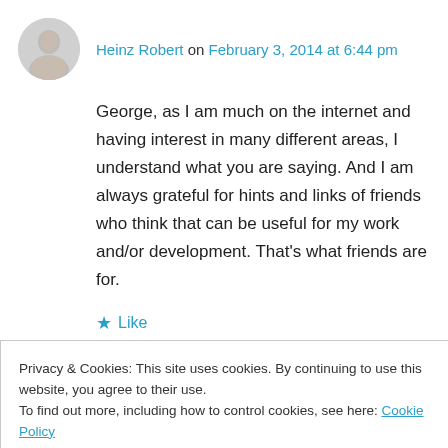Heinz Robert on February 3, 2014 at 6:44 pm
George, as I am much on the internet and having interest in many different areas, I understand what you are saying. And I am always grateful for hints and links of friends who think that can be useful for my work and/or development. That's what friends are for.
★ Like
👍 1 👎 0 ℹ Rate This
Privacy & Cookies: This site uses cookies. By continuing to use this website, you agree to their use.
To find out more, including how to control cookies, see here: Cookie Policy
Close and accept
Yes, indeed, Heinz! And while friends are